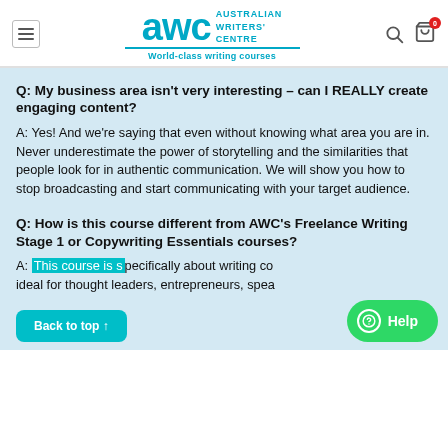AWC Australian Writers' Centre — World-class writing courses
Q: My business area isn't very interesting – can I REALLY create engaging content?
A: Yes! And we're saying that even without knowing what area you are in. Never underestimate the power of storytelling and the similarities that people look for in authentic communication. We will show you how to stop broadcasting and start communicating with your target audience.
Q: How is this course different from AWC's Freelance Writing Stage 1 or Copywriting Essentials courses?
A: This course is specifically about writing co... ideal for thought leaders, entrepreneurs, spea...